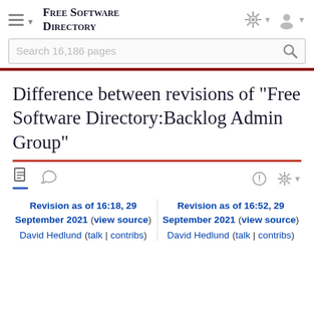Free Software Directory
Difference between revisions of "Free Software Directory:Backlog Admin Group"
Revision as of 16:18, 29 September 2021 (view source)
David Hedlund (talk | contribs)
Revision as of 16:52, 29 September 2021 (view source)
David Hedlund (talk | contribs)